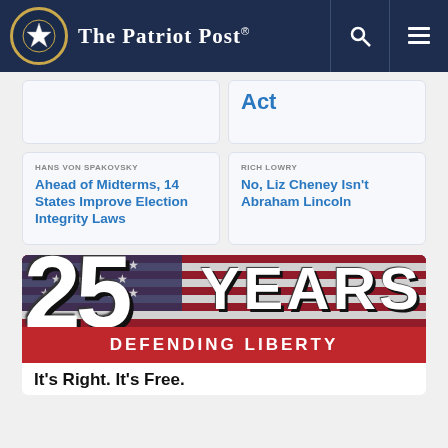The Patriot Post
Act
HANS VON SPAKOVSKY
Ahead of Midterms, 14 States Improve Election Integrity Laws
RICH LOWRY
No, Liz Cheney Isn't Abraham Lincoln
[Figure (illustration): 25 YEARS DEFENDING LIBERTY banner with American flag background]
It's Right. It's Free.